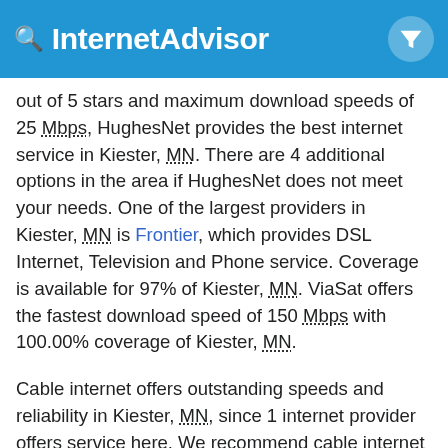InternetAdvisor
out of 5 stars and maximum download speeds of 25 Mbps, HughesNet provides the best internet service in Kiester, MN. There are 4 additional options in the area if HughesNet does not meet your needs. One of the largest providers in Kiester, MN is Frontier, which provides DSL Internet, Television and Phone service. Coverage is available for 97% of Kiester, MN. ViaSat offers the fastest download speed of 150 Mbps with 100.00% coverage of Kiester, MN.
Cable internet offers outstanding speeds and reliability in Kiester, MN, since 1 internet provider offers service here. We recommend cable internet when available to your home address.
Although Kiester, MN provides excellent satellite internet coverage from HughesNet or ViaSat, we do not recommend satellite internet in areas where cable or fiber